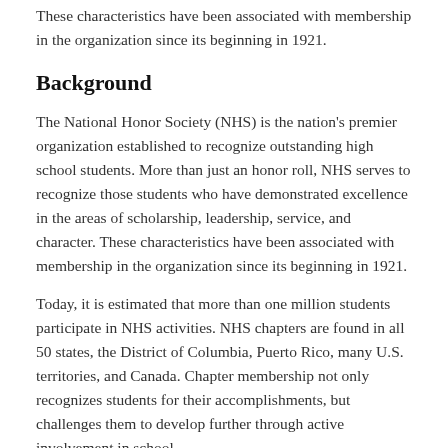These characteristics have been associated with membership in the organization since its beginning in 1921.
Background
The National Honor Society (NHS) is the nation's premier organization established to recognize outstanding high school students. More than just an honor roll, NHS serves to recognize those students who have demonstrated excellence in the areas of scholarship, leadership, service, and character. These characteristics have been associated with membership in the organization since its beginning in 1921.
Today, it is estimated that more than one million students participate in NHS activities. NHS chapters are found in all 50 states, the District of Columbia, Puerto Rico, many U.S. territories, and Canada. Chapter membership not only recognizes students for their accomplishments, but challenges them to develop further through active involvement in school